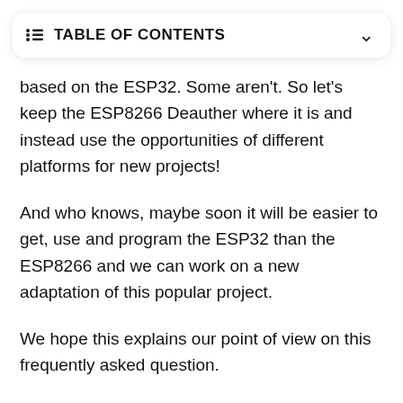TABLE OF CONTENTS
based on the ESP32. Some aren't. So let's keep the ESP8266 Deauther where it is and instead use the opportunities of different platforms for new projects!
And who knows, maybe soon it will be easier to get, use and program the ESP32 than the ESP8266 and we can work on a new adaptation of this popular project.
We hope this explains our point of view on this frequently asked question.